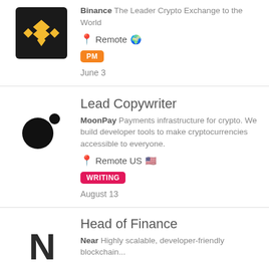[Figure (logo): Binance logo - black background with yellow diamond/checkmark symbol]
Binance The Leader Crypto Exchange to the World
Remote 🌍
PM
June 3
[Figure (logo): MoonPay logo - two black circles]
Lead Copywriter
MoonPay Payments infrastructure for crypto. We build developer tools to make cryptocurrencies accessible to everyone.
Remote US 🇺🇸
WRITING
August 13
[Figure (logo): Near Protocol logo - stylized N letterform in dark gray]
Head of Finance
Near Highly scalable, developer-friendly blockchain...